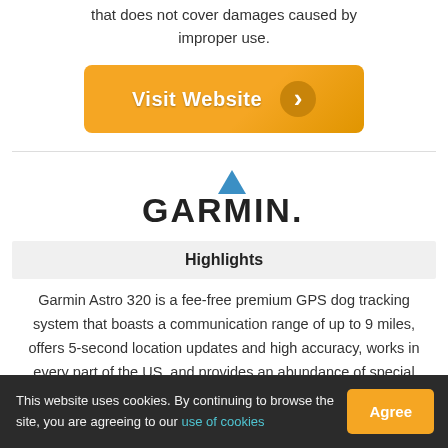that does not cover damages caused by improper use.
[Figure (other): Orange 'Visit Website' button with arrow circle icon]
[Figure (logo): Garmin logo with blue triangle above the text]
Highlights
Garmin Astro 320 is a fee-free premium GPS dog tracking system that boasts a communication range of up to 9 miles, offers 5-second location updates and high accuracy, works in every part of the US, and provides an abundance of special tracking features
This website uses cookies. By continuing to browse the site, you are agreeing to our use of cookies